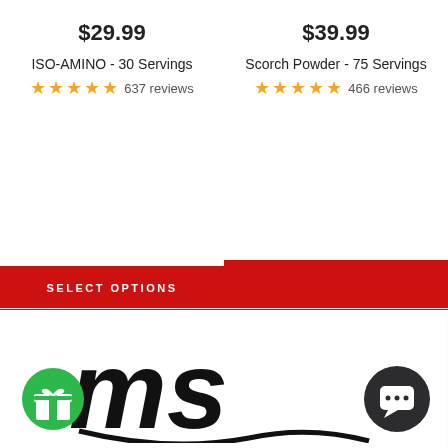$29.99
ISO-AMINO - 30 Servings
★★★★★ 637 reviews
SELECT OPTIONS
$39.99
Scorch Powder - 75 Servings
★★★★★ 466 reviews
Thanks for reaching out to us! We will happily assist you at our earliest convenience, but while you wait please make sure you add your email so we can stay answer any questions you may have after hours!
[Figure (logo): ms brand logo in black large stylized lettering]
[Figure (illustration): Green circular gift button bottom left]
[Figure (illustration): Dark circular chat bubble button bottom right]